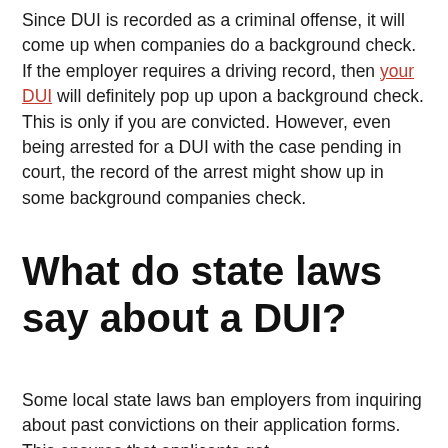Since DUI is recorded as a criminal offense, it will come up when companies do a background check. If the employer requires a driving record, then your DUI will definitely pop up upon a background check. This is only if you are convicted. However, even being arrested for a DUI with the case pending in court, the record of the arrest might show up in some background companies check.
What do state laws say about a DUI?
Some local state laws ban employers from inquiring about past convictions on their application forms. This ensures that applicants get